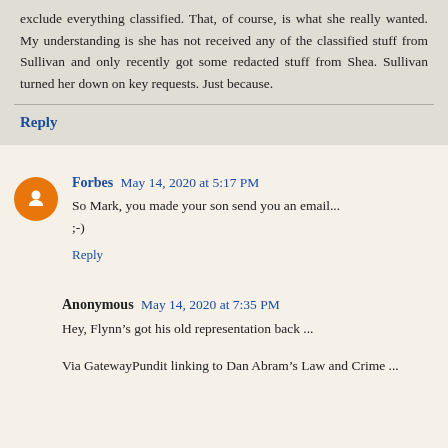exclude everything classified. That, of course, is what she really wanted. My understanding is she has not received any of the classified stuff from Sullivan and only recently got some redacted stuff from Shea. Sullivan turned her down on key requests. Just because.
Reply
Forbes  May 14, 2020 at 5:17 PM
So Mark, you made your son send you an email...
;-)
Reply
Anonymous  May 14, 2020 at 7:35 PM
Hey, Flynn’s got his old representation back ...
Via GatewayPundit linking to Dan Abram’s Law and Crime ...